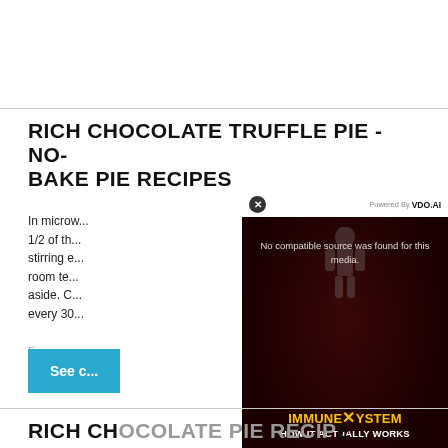RICH CHOCOLATE TRUFFLE PIE - NO-BAKE PIE RECIPES
In microw... 1/2 of th... stirring e... room te... aside. C... every 30...
From w...
[Figure (screenshot): Video overlay with dark red background showing 'No compatible source was found for this media.' and text 'IMMUNE SYSTEM HOW IT ACTUALLY WORKS'. Has close button (X) and 'Powered By VDO.AI' header.]
See c...
RICH CHOCOLATE PIE RECIPE